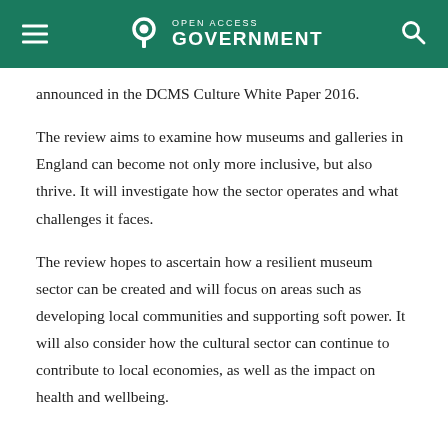Open Access Government
announced in the DCMS Culture White Paper 2016.
The review aims to examine how museums and galleries in England can become not only more inclusive, but also thrive. It will investigate how the sector operates and what challenges it faces.
The review hopes to ascertain how a resilient museum sector can be created and will focus on areas such as developing local communities and supporting soft power. It will also consider how the cultural sector can continue to contribute to local economies, as well as the impact on health and wellbeing.